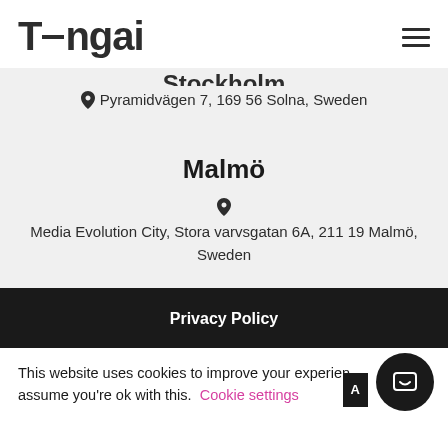Tengai (logo) — navigation header with hamburger menu
Stockholm
Pyramidvägen 7, 169 56 Solna, Sweden
Malmö
Media Evolution City, Stora varvsgatan 6A, 211 19 Malmö, Sweden
Privacy Policy
This website uses cookies to improve your experience and assume you're ok with this. Cookie settings  A…